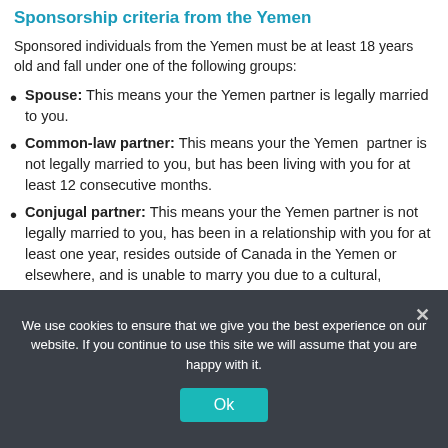Sponsorship criteria from the Yemen
Sponsored individuals from the Yemen must be at least 18 years old and fall under one of the following groups:
Spouse: This means your the Yemen partner is legally married to you.
Common-law partner: This means your the Yemen partner is not legally married to you, but has been living with you for at least 12 consecutive months.
Conjugal partner: This means your the Yemen partner is not legally married to you, has been in a relationship with you for at least one year, resides outside of Canada in the Yemen or elsewhere, and is unable to marry you due to a cultural, religious, or
We use cookies to ensure that we give you the best experience on our website. If you continue to use this site we will assume that you are happy with it.